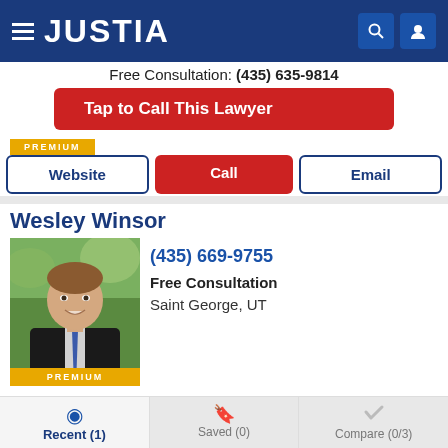[Figure (logo): Justia website header with hamburger menu, JUSTIA logo in white on dark blue background, and search/profile icons]
Free Consultation: (435) 635-9814
Tap to Call This Lawyer
PREMIUM
Website | Call | Email
Wesley Winsor
[Figure (photo): Professional headshot of Wesley Winsor, a man in a dark suit with blue tie, smiling, with PREMIUM badge at bottom]
(435) 669-9755
Free Consultation
Saint George, UT
Website | Call | Email
Recent (1) | Saved (0) | Compare (0/3)